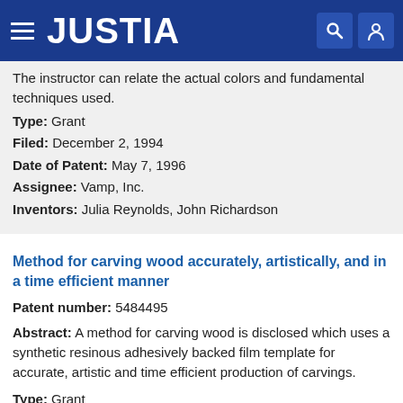JUSTIA
The instructor can relate the actual colors and fundamental techniques used.
Type: Grant
Filed: December 2, 1994
Date of Patent: May 7, 1996
Assignee: Vamp, Inc.
Inventors: Julia Reynolds, John Richardson
Method for carving wood accurately, artistically, and in a time efficient manner
Patent number: 5484495
Abstract: A method for carving wood is disclosed which uses a synthetic resinous adhesively backed film template for accurate, artistic and time efficient production of carvings.
Type: Grant
Filed: July 20, 1994